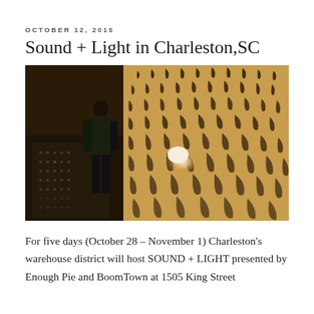OCTOBER 12, 2015
Sound + Light in Charleston,SC
[Figure (photo): A person standing inside an immersive light installation, looking up. The walls and ceiling are covered with a perforated metallic pattern casting dramatic comma and bracket-shaped light patterns across the interior space.]
For five days (October 28 – November 1) Charleston's warehouse district will host SOUND + LIGHT presented by Enough Pie and BoomTown at 1505 King Street